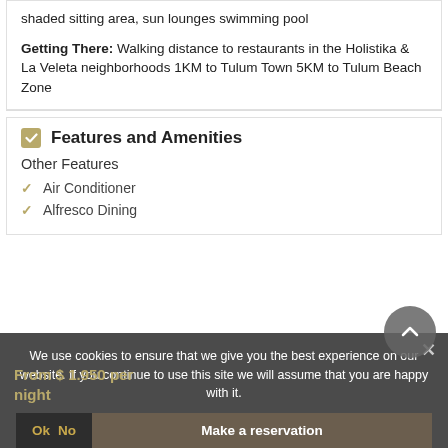shaded sitting area, sun lounges swimming pool
Getting There: Walking distance to restaurants in the Holistika & La Veleta neighborhoods 1KM to Tulum Town 5KM to Tulum Beach Zone
Features and Amenities
Other Features
Air Conditioner
Alfresco Dining
From $ 1.950 per night
We use cookies to ensure that we give you the best experience on our website. If you continue to use this site we will assume that you are happy with it.
Ok  No
Make a reservation